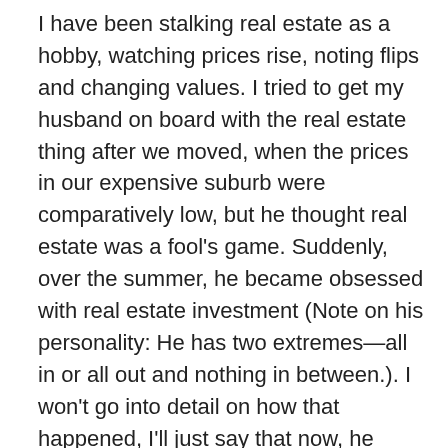I have been stalking real estate as a hobby, watching prices rise, noting flips and changing values. I tried to get my husband on board with the real estate thing after we moved, when the prices in our expensive suburb were comparatively low, but he thought real estate was a fool's game. Suddenly, over the summer, he became obsessed with real estate investment (Note on his personality: He has two extremes—all in or all out and nothing in between.). I won't go into detail on how that happened, I'll just say that now, he relies on my time and my interest to legitimately pursue this risky venture.
These days, when I'm not teaching or cleaning, working out or cooking, or writing, I'm learning about licenses and inspections, tweaking leases, new software for landlords, value-estimating spreadsheet calculations, gleaning private money. And I like it. My work with this house, with